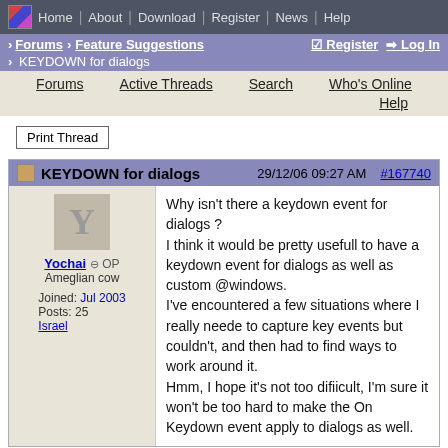Home | About | Download | Register | News | Help
Forums > Feature Suggestions   Register  Log In
> KEYDOWN for dialogs
Forums   Active Threads   Search   Who's Online   Help
Print Thread
KEYDOWN for dialogs   29/12/06 09:27 AM   #167740
Yochai OP
Ameglian cow
Joined: Jul 2003
Posts: 25
Israel
Why isn't there a keydown event for dialogs ?
I think it would be pretty usefull to have a keydown event for dialogs as well as custom @windows.
I've encountered a few situations where I really neede to capture key events but couldn't, and then had to find ways to work around it.
Hmm, I hope it's not too difiicult, I'm sure it won't be too hard to make the On Keydown event apply to dialogs as well.
Re: KEYDOWN for dialogs [Re: Yochai]   #167752
29/12/06  04:43 PM